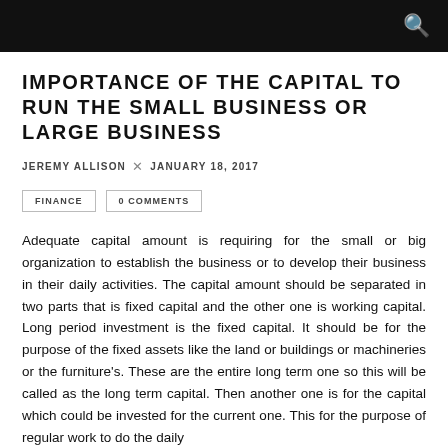IMPORTANCE OF THE CAPITAL TO RUN THE SMALL BUSINESS OR LARGE BUSINESS
JEREMY ALLISON  ×  JANUARY 18, 2017
FINANCE   0 COMMENTS
Adequate capital amount is requiring for the small or big organization to establish the business or to develop their business in their daily activities. The capital amount should be separated in two parts that is fixed capital and the other one is working capital. Long period investment is the fixed capital. It should be for the purpose of the fixed assets like the land or buildings or machineries or the furniture's. These are the entire long term one so this will be called as the long term capital. Then another one is for the capital which could be invested for the current one. This for the purpose of regular work to do the daily